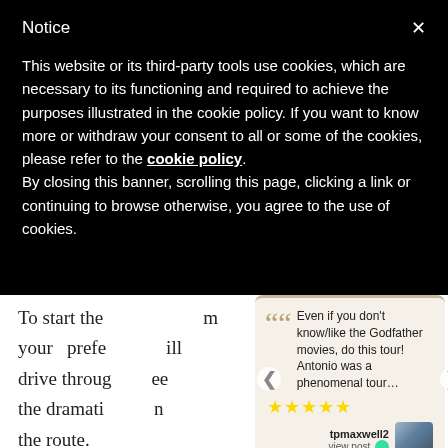Notice
This website or its third-party tools use cookies, which are necessary to its functioning and required to achieve the purposes illustrated in the cookie policy. If you want to know more or withdraw your consent to all or some of the cookies, please refer to the cookie policy.
By closing this banner, scrolling this page, clicking a link or continuing to browse otherwise, you agree to the use of cookies.
To start the m your prefe ill drive throug ee the dramati n the route.
[Figure (screenshot): Testimonial card with quote: 'Even if you don't know/like the Godfather movies, do this tour! Antonio was a phenomenal tour...' Five gold stars. Reviewer: tpmaxwell2, view post. Navigation arrows on left and right.]
Finally, we a he